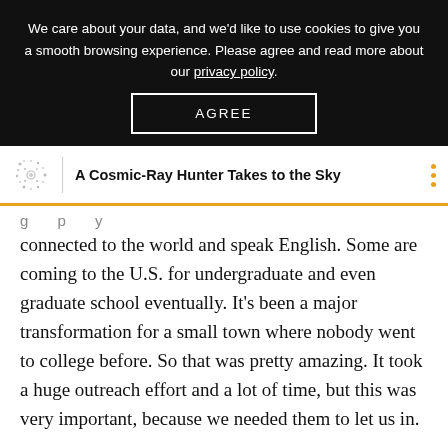We care about your data, and we'd like to use cookies to give you a smooth browsing experience. Please agree and read more about our privacy policy.
AGREE
A Cosmic-Ray Hunter Takes to the Sky
connected to the world and speak English. Some are coming to the U.S. for undergraduate and even graduate school eventually. It’s been a major transformation for a small town where nobody went to college before. So that was pretty amazing. It took a huge outreach effort and a lot of time, but this was very important, because we needed them to let us in.